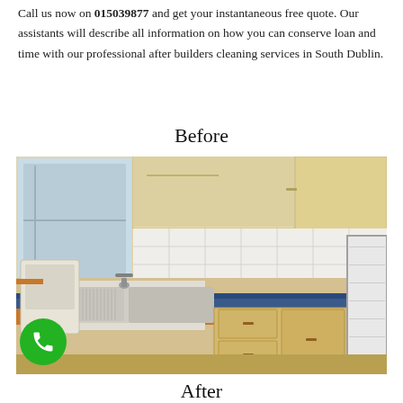Call us now on 015039877 and get your instantaneous free quote. Our assistants will describe all information on how you can conserve loan and time with our professional after builders cleaning services in South Dublin.
Before
[Figure (photo): Kitchen interior before cleaning: shows wooden upper cabinets with open shelving, orange and blue tiled countertop/backsplash, a white sink with chrome tap, lower wooden cabinets/drawers, an open white refrigerator on the right, and a window on the left with natural light. A green phone call button icon is overlaid in the bottom-left corner.]
After